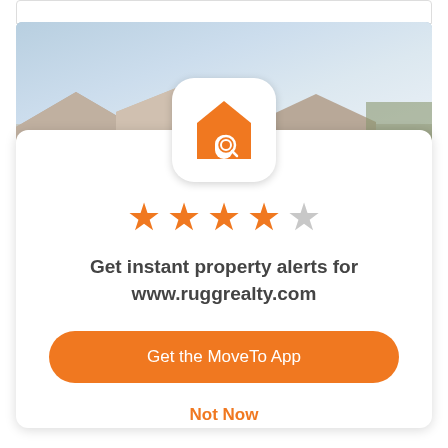[Figure (screenshot): Mobile app promotional card with house search icon, 4 out of 5 stars rating, text prompting property alerts, orange CTA button, and Not Now link]
Get instant property alerts for www.ruggrealty.com
Get the MoveTo App
Not Now